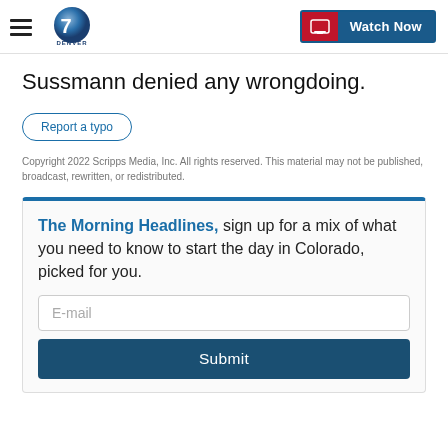Denver7 — Watch Now
Sussmann denied any wrongdoing.
Report a typo
Copyright 2022 Scripps Media, Inc. All rights reserved. This material may not be published, broadcast, rewritten, or redistributed.
The Morning Headlines, sign up for a mix of what you need to know to start the day in Colorado, picked for you.
E-mail
Submit